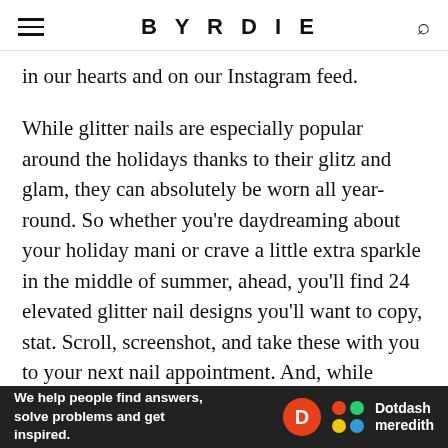BYRDIE
in our hearts and on our Instagram feed.
While glitter nails are especially popular around the holidays thanks to their glitz and glam, they can absolutely be worn all year-round. So whether you're daydreaming about your holiday mani or crave a little extra sparkle in the middle of summer, ahead, you'll find 24 elevated glitter nail designs you'll want to copy, stat. Scroll, screenshot, and take these with you to your next nail appointment. And, while you're at it, prepare for the overflowing compliments and Instagram likes you'll undoubtedly receive as a result.
[Figure (other): Dotdash Meredith advertisement banner: 'We help people find answers, solve problems and get inspired.' with Dotdash Meredith logo]